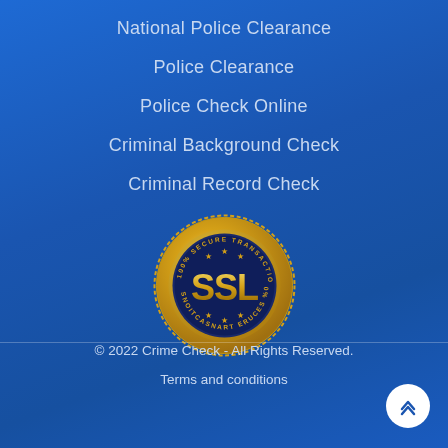National Police Clearance
Police Clearance
Police Check Online
Criminal Background Check
Criminal Record Check
[Figure (illustration): Gold SSL 100% Secure Transactions badge/seal with SSL text in center and star decorations]
© 2022 Crime Check - All Rights Reserved.
Terms and conditions